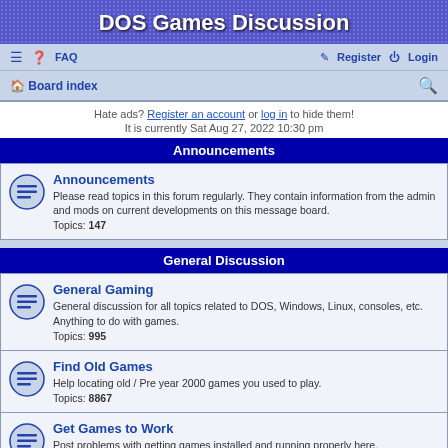DOS Games Discussion
☰  ❓ FAQ    🖊 Register  ⏻ Login
🏠 Board index   🔍
Hate ads? Register an account or log in to hide them!
It is currently Sat Aug 27, 2022 10:30 pm
Announcements
Announcements
Please read topics in this forum regularly. They contain information from the admin and mods on current developments on this message board.
Topics: 147
General Discussion
General Gaming
General discussion for all topics related to DOS, Windows, Linux, consoles, etc. Anything to do with games.
Topics: 995
Find Old Games
Help locating old / Pre year 2000 games you used to play.
Topics: 8867
Get Games to Work
Post problems with getting games installed and running properly here.